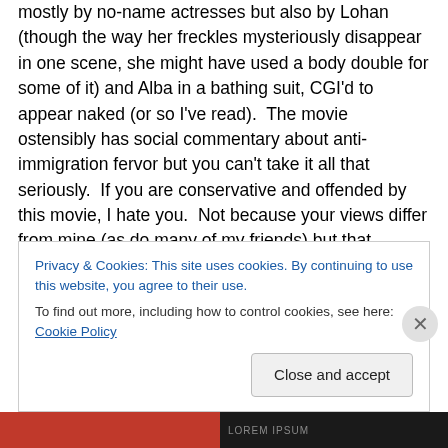mostly by no-name actresses but also by Lohan (though the way her freckles mysteriously disappear in one scene, she might have used a body double for some of it) and Alba in a bathing suit, CGI'd to appear naked (or so I've read).  The movie ostensibly has social commentary about anti-immigration fervor but you can't take it all that seriously.  If you are conservative and offended by this movie, I hate you.  Not because your views differ from mine (as do many of my friends) but that anyone could take the “message” of this film that seriously makes my
Privacy & Cookies: This site uses cookies. By continuing to use this website, you agree to their use.
To find out more, including how to control cookies, see here: Cookie Policy